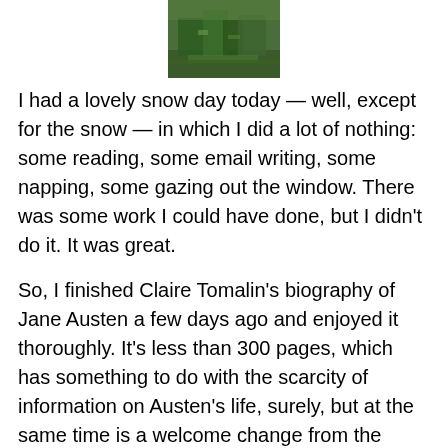[Figure (photo): A small green-tinted outdoor photograph showing trees and landscape, centered at the top of the page.]
I had a lovely snow day today — well, except for the snow — in which I did a lot of nothing: some reading, some email writing, some napping, some gazing out the window. There was some work I could have done, but I didn't do it. It was great.
So, I finished Claire Tomalin's biography of Jane Austen a few days ago and enjoyed it thoroughly. It's less than 300 pages, which has something to do with the scarcity of information on Austen's life, surely, but at the same time is a welcome change from the usual thick biographical tome. I am reluctant to read those long biographies because as a slow reader, they take me forever to get through.  It's a pleasure to feel that I've gotten a good glimpse into Austen's life without it taking months.